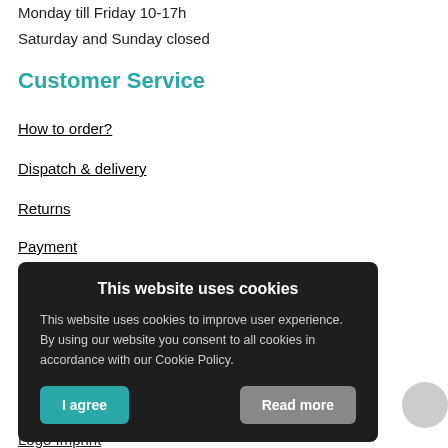Monday till Friday 10-17h
Saturday and Sunday closed
Customer Service
How to order?
Dispatch & delivery
Returns
Payment
Complaints
T...
P...
P... (teal/partial)
N...
O...
Logo Imprint
[Figure (other): Cookie consent modal dialog with title 'This website uses cookies', body text about cookie policy, and two buttons: 'I agree' (teal) and 'Read more' (gray).]